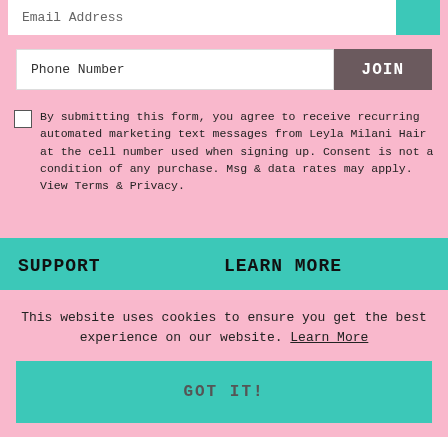Email Address
Phone Number
JOIN
By submitting this form, you agree to receive recurring automated marketing text messages from Leyla Milani Hair at the cell number used when signing up. Consent is not a condition of any purchase. Msg & data rates may apply. View Terms & Privacy.
SUPPORT
LEARN MORE
This website uses cookies to ensure you get the best experience on our website. Learn More
GOT IT!